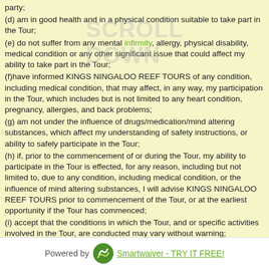party;
(d) am in good health and in a physical condition suitable to take part in the Tour;
(e) do not suffer from any mental infirmity, allergy, physical disability, medical condition or any other significant issue that could affect my ability to take part in the Tour;
(f)have informed KINGS NINGALOO REEF TOURS of any condition, including medical condition, that may affect, in any way, my participation in the Tour, which includes but is not limited to any heart condition, pregnancy, allergies, and back problems;
(g) am not under the influence of drugs/medication/mind altering substances, which affect my understanding of safety instructions, or ability to safely participate in the Tour;
(h) if, prior to the commencement of or during the Tour, my ability to participate in the Tour is effected, for any reason, including but not limited to, due to any condition, including medical condition, or the influence of mind altering substances, I will advise KINGS NINGALOO REEF TOURS prior to commencement of the Tour, or at the earliest opportunity if the Tour has commenced;
(i) accept that the conditions in which the Tour, and or specific activities involved in the Tour, are conducted may vary without warning;
(j) understand and acknowledge that:
(i) there may be no medical care available during the Tour; and
(ii) if medical care is rendered to me, I consent to that care if I am unable to give my consent for any reason at the time the care is rendered;
Powered by  Smartwaiver - TRY IT FREE!